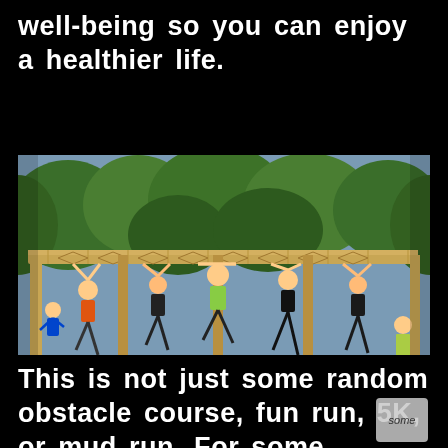well-being so you can enjoy a healthier life.
[Figure (photo): Outdoor obstacle course event showing multiple participants hanging from and traversing a large wooden overhead rig structure, surrounded by trees. Spectators and safety personnel stand below watching.]
This is not just some random obstacle course, fun run, 5K, or mud run. For some individuals the name of the event might